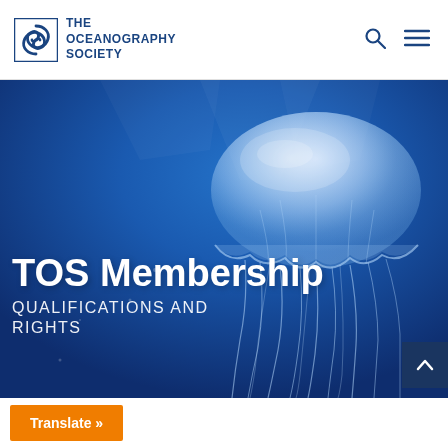[Figure (logo): The Oceanography Society logo with spiral wave icon and text 'THE OCEANOGRAPHY SOCIETY']
[Figure (photo): A jellyfish photographed underwater against a deep blue ocean background, with the text 'TOS Membership' and 'QUALIFICATIONS AND RIGHTS' overlaid in white]
TOS Membership
QUALIFICATIONS AND RIGHTS
Translate »